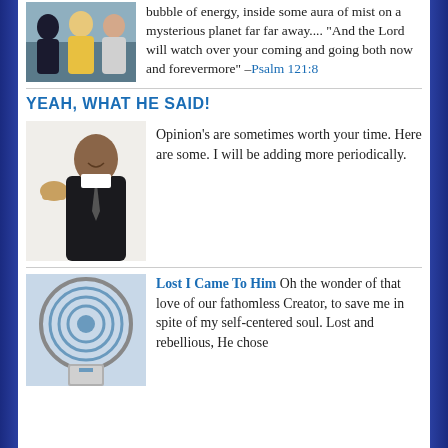[Figure (photo): Group photo of three people, one in yellow shirt]
bubble of energy, inside some aura of mist on a mysterious planet far far away.... "And the Lord will watch over your coming and going both now and forevermore" –Psalm 121:8
YEAH, WHAT HE SAID!
[Figure (photo): Man in suit with tie, bald head, smiling, with fist icon beside him]
Opinion's are sometimes worth your time. Here are some. I will be adding more periodically.
[Figure (photo): Maze image with a door]
Lost I Came To Him Oh the wonder of that love of our fathomless Creator, to save me in spite of my self-centered soul. Lost and rebellious, He chose